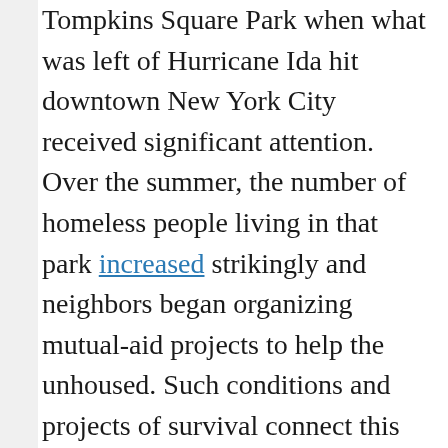Tompkins Square Park when what was left of Hurricane Ida hit downtown New York City received significant attention. Over the summer, the number of homeless people living in that park increased strikingly and neighbors began organizing mutual-aid projects to help the unhoused. Such conditions and projects of survival connect this particular moment to the past — specifically to a time decades ago when homeless and formerly homeless organizers from Tompkins Square first helped form the National Union of the Homeless. In the late 1980s and early 1990s, the NUH would organize 25 chapters in cities across the United